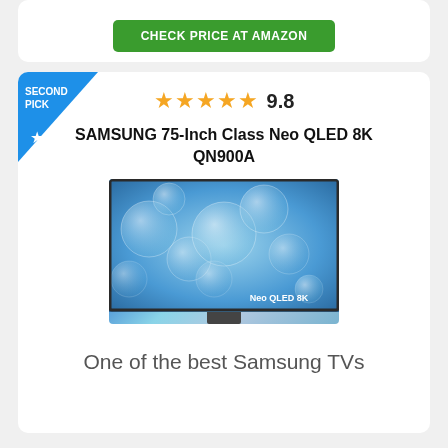[Figure (other): Green CHECK PRICE AT AMAZON button]
SECOND PICK
9.8
SAMSUNG 75-Inch Class Neo QLED 8K QN900A
[Figure (photo): Samsung Neo QLED 8K TV with blue abstract display showing bubbles, labeled Neo QLED 8K]
One of the best Samsung TVs